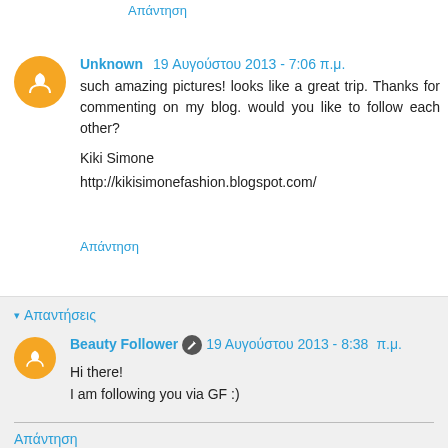Απάντηση
Unknown 19 Αυγούστου 2013 - 7:06 π.μ.
such amazing pictures! looks like a great trip. Thanks for commenting on my blog. would you like to follow each other?
Kiki Simone
http://kikisimonefashion.blogspot.com/
Απάντηση
▾ Απαντήσεις
Beauty Follower 19 Αυγούστου 2013 - 8:38 π.μ.
Hi there!
I am following you via GF :)
Απάντηση